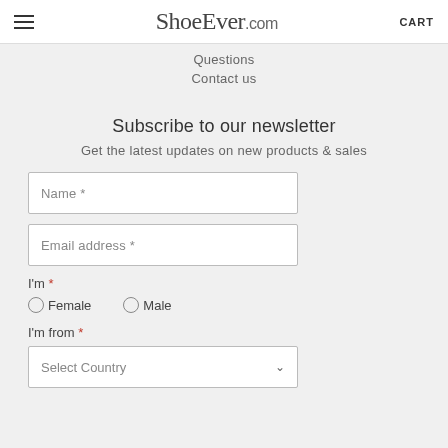ShoeEver.com  CART
Questions
Contact us
Subscribe to our newsletter
Get the latest updates on new products & sales
Name *
Email address *
I'm *
Female  Male
I'm from *
Select Country